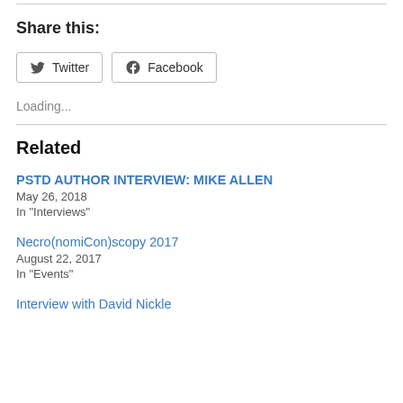Share this:
Twitter  Facebook
Loading...
Related
PSTD AUTHOR INTERVIEW: MIKE ALLEN
May 26, 2018
In "Interviews"
Necro(nomiCon)scopy 2017
August 22, 2017
In "Events"
Interview with David Nickle